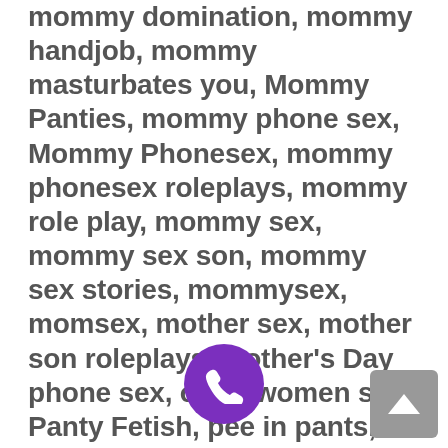mommy domination, mommy handjob, mommy masturbates you, Mommy Panties, mommy phone sex, Mommy Phonesex, mommy phonesex roleplays, mommy role play, mommy sex, mommy sex son, mommy sex stories, mommysex, momsex, mother sex, mother son roleplays, Mother's Day phone sex, older women sex, Panty Fetish, pee in pants, peepee, phone a mommy, phone mommy, phone mommy sex, phone sex, Phone Sex, Phone Sex Mommy, phoneamommy, phonemommy